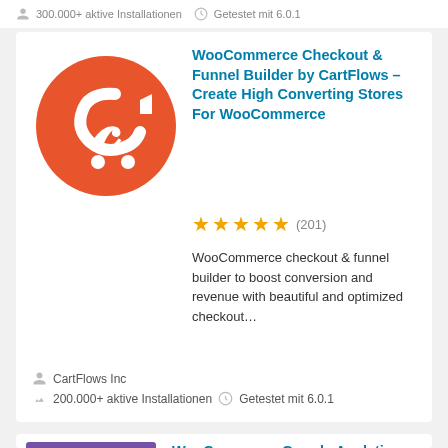300.000+ aktive Installationen  Getestet mit 6.0.1
[Figure (logo): CartFlows logo: orange circle with white CF shopping cart icon]
WooCommerce Checkout & Funnel Builder by CartFlows – Create High Converting Stores For WooCommerce
★★★★★ (201)
WooCommerce checkout & funnel builder to boost conversion and revenue with beautiful and optimized checkout…
CartFlows Inc
200.000+ aktive Installationen  Getestet mit 6.0.1
[Figure (logo): WooCommerce Google Analytics Integration logo: purple background with WooCommerce branding and bar chart]
WooCommerce Google Analytics Integration
★★★☆☆ (90)
Provides integration between Google